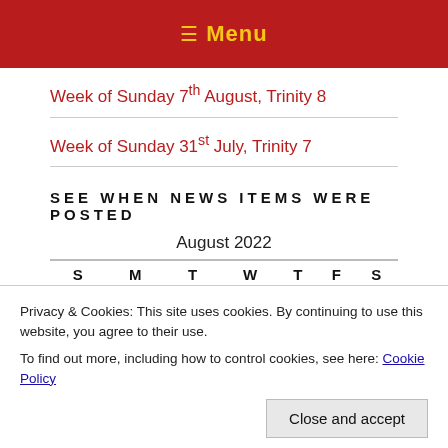☰ Menu
Week of Sunday 7th August, Trinity 8
Week of Sunday 31st July, Trinity 7
SEE WHEN NEWS ITEMS WERE POSTED
| S | M | T | W | T | F | S |
| --- | --- | --- | --- | --- | --- | --- |
|  | 1 | 2 | 3 | 4 | 5 | 6 |
| 28 | 29 | 30 | 31 |  |  |  |
Privacy & Cookies: This site uses cookies. By continuing to use this website, you agree to their use.
To find out more, including how to control cookies, see here: Cookie Policy
Close and accept